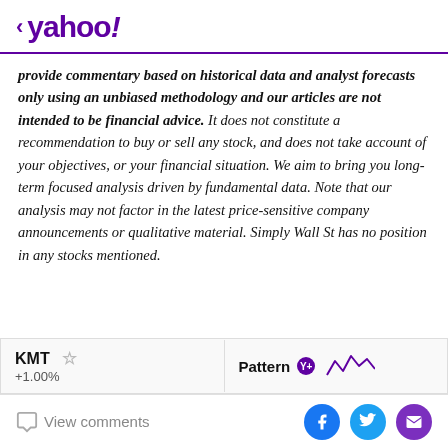< yahoo!
provide commentary based on historical data and analyst forecasts only using an unbiased methodology and our articles are not intended to be financial advice. It does not constitute a recommendation to buy or sell any stock, and does not take account of your objectives, or your financial situation. We aim to bring you long-term focused analysis driven by fundamental data. Note that our analysis may not factor in the latest price-sensitive company announcements or qualitative material. Simply Wall St has no position in any stocks mentioned.
[Figure (screenshot): Ticker bar showing KMT with a star icon and Pattern Y+ with a mini line chart]
View comments | Social share icons (Facebook, Twitter, Email)